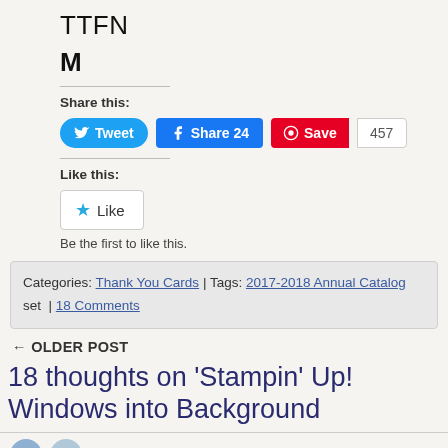TTFN
M
Share this:
[Figure (screenshot): Social share buttons: Tweet (Twitter, blue rounded), Share 24 (Facebook, blue), Save 457 (Pinterest, red)]
Like this:
[Figure (screenshot): Like button with blue star icon and text 'Like']
Be the first to like this.
Categories: Thank You Cards | Tags: 2017-2018 Annual Catalog set | 18 Comments
← OLDER POST
18 thoughts on 'Stampin' Up! Windows into Background